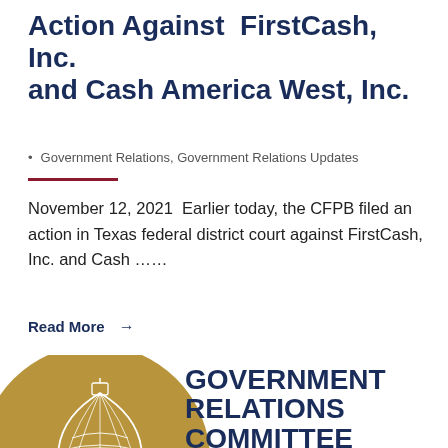Action Against FirstCash, Inc. and Cash America West, Inc.
Government Relations, Government Relations Updates
November 12, 2021  Earlier today, the CFPB filed an action in Texas federal district court against FirstCash, Inc. and Cash ……
Read More →
[Figure (logo): Government Relations Committee logo: gold circle with U.S. Capitol dome illustration, text 'GOVERNMENT RELATIONS COMMITTEE' in dark navy bold font to the right]